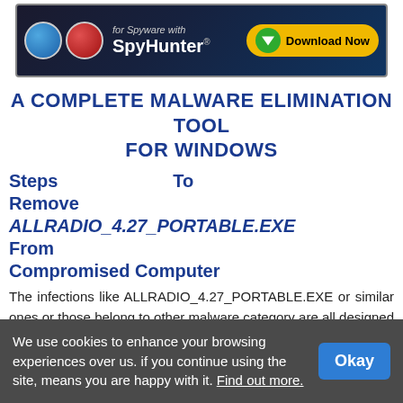[Figure (advertisement): SpyHunter ad banner with blue/dark background, two circular icons, SpyHunter logo text, and yellow 'Download Now' button with green arrow]
A COMPLETE MALWARE ELIMINATION TOOL FOR WINDOWS
Steps To Remove ALLRADIO_4.27_PORTABLE.EXE From Compromised Computer
The infections like ALLRADIO_4.27_PORTABLE.EXE or similar ones or those belong to other malware category are all designed to generate with only ill intention to make money for its developers who make use of any technique to force you down. However, most of the security experts associated with different security associations say this is not much harmful browser and can be
We use cookies to enhance your browsing experiences over us. if you continue using the site, means you are happy with it. Find out more.